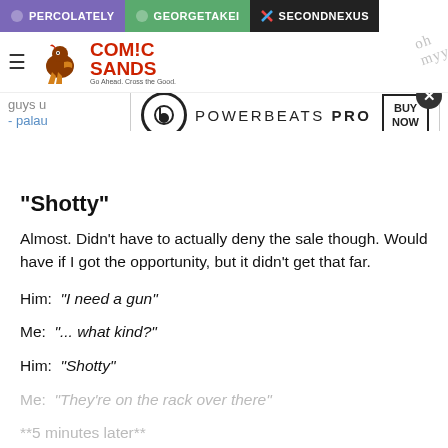PERCOLATELY   GEORGETAKEI   SECONDNEXUS
[Figure (screenshot): Comic Sands website logo with rooster mascot]
[Figure (screenshot): Powerbeats Pro advertisement banner with BUY NOW button]
"Shotty"
Almost. Didn't have to actually deny the sale though. Would have if I got the opportunity, but it didn't get that far.
Him:  "I need a gun"
Me:  "... what kind?"
Him:  "Shotty"
Me:  "They're on the rack over there"
**5 minutes later**